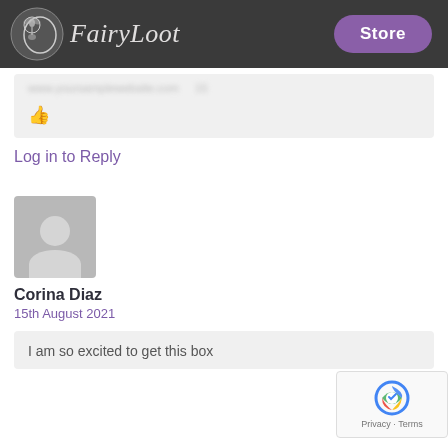FairyLoot — Store
[blurred/partially visible URL or comment text]
👍 (like icon)
Log in to Reply
[Figure (photo): Default user avatar placeholder (grey silhouette of a person on grey background)]
Corina Diaz
15th August 2021
I am so excited to get this box